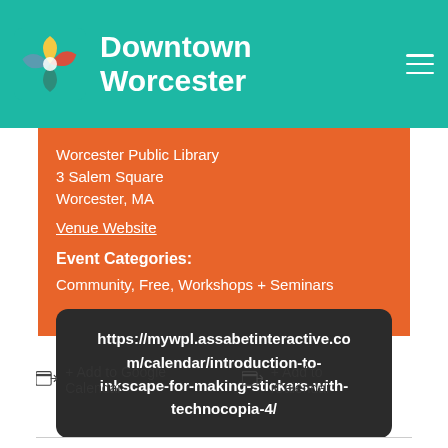Downtown Worcester
Worcester Public Library
3 Salem Square
Worcester, MA
Venue Website
Event Categories:
Community, Free, Workshops + Seminars
https://mywpl.assabetinteractive.com/calendar/introduction-to-inkscape-for-making-stickers-with-technocopia-4/
+ Add to Google Calendar
+ Add to iCalendar